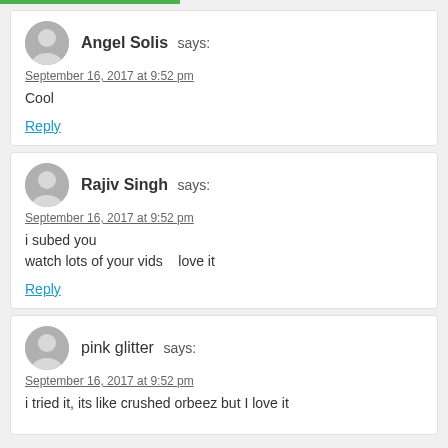Angel Solis says:
September 16, 2017 at 9:52 pm
Cool
Reply
Rajiv Singh says:
September 16, 2017 at 9:52 pm
i subed you
watch lots of your vids    love it
Reply
pink glitter says:
September 16, 2017 at 9:52 pm
i tried it, its like crushed orbeez but I love it